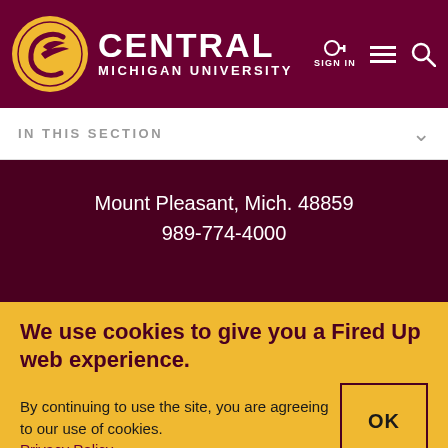[Figure (logo): Central Michigan University logo — gold circle with stylized C and flying bird, white text CENTRAL MICHIGAN UNIVERSITY]
CENTRAL MICHIGAN UNIVERSITY | SIGN IN
IN THIS SECTION
Mount Pleasant, Mich. 48859
989-774-4000
FACULTY & STAFF DIRECTORY
NEWS
We use cookies to give you a Fired Up web experience.
By continuing to use the site, you are agreeing to our use of cookies. Privacy Policy.